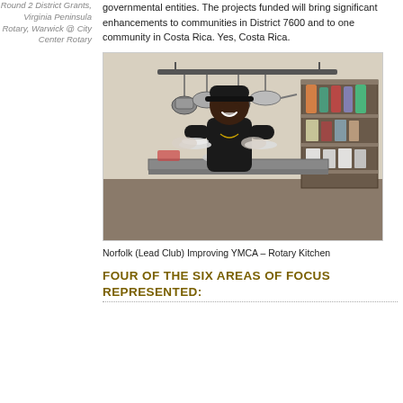Round 2 District Grants, Virginia Peninsula Rotary, Warwick @ City Center Rotary
governmental entities. The projects funded will bring significant enhancements to communities in District 7600 and to one community in Costa Rica. Yes, Costa Rica.
[Figure (photo): A man in a black outfit and cap smiling and holding plates in a commercial kitchen with pots hanging overhead and shelves of food supplies in the background.]
Norfolk (Lead Club) Improving YMCA – Rotary Kitchen
Four of the six areas of focus represented: